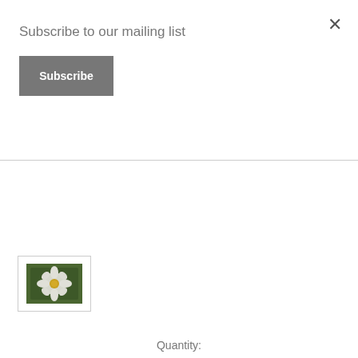Subscribe to our mailing list
Subscribe
[Figure (photo): Dark garden photo showing green foliage and white flowers in background, cropped banner view]
[Figure (photo): Small thumbnail image of a white flower with yellow center on green background, inside a bordered box]
Quantity: